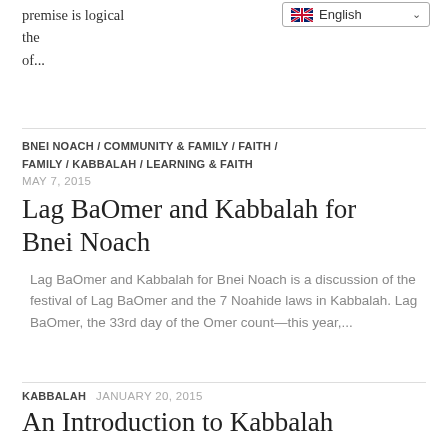premise is logical the... of...
BNEI NOACH / COMMUNITY & FAMILY / FAITH / FAMILY / KABBALAH / LEARNING & FAITH
MAY 7, 2015
Lag BaOmer and Kabbalah for Bnei Noach
Lag BaOmer and Kabbalah for Bnei Noach is a discussion of the festival of Lag BaOmer and the 7 Noahide laws in Kabbalah. Lag BaOmer, the 33rd day of the Omer count—this year,...
KABBALAH  JANUARY 20, 2015
An Introduction to Kabbalah